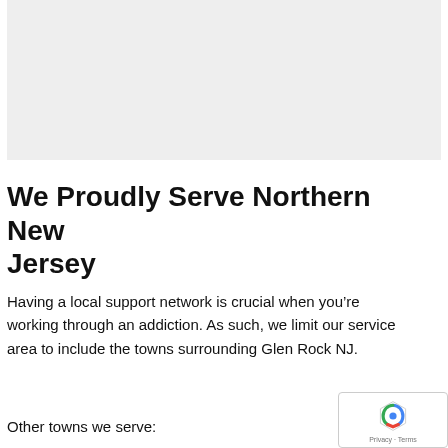[Figure (photo): Gray placeholder image area at the top of the page]
We Proudly Serve Northern New Jersey
Having a local support network is crucial when you’re working through an addiction. As such, we limit our service area to include the towns surrounding Glen Rock NJ.
Other towns we serve: